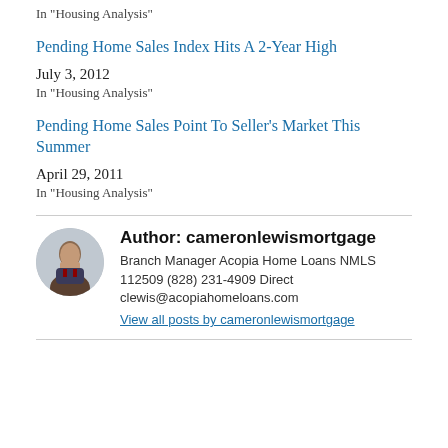In "Housing Analysis"
Pending Home Sales Index Hits A 2-Year High
July 3, 2012
In "Housing Analysis"
Pending Home Sales Point To Seller's Market This Summer
April 29, 2011
In "Housing Analysis"
Author: cameronlewismortgage
Branch Manager Acopia Home Loans NMLS 112509 (828) 231-4909 Direct
clewis@acopiahomeloans.com
View all posts by cameronlewismortgage